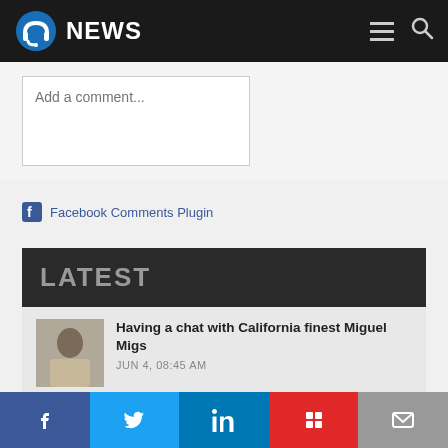NEWS
Add a comment...
Facebook Comments Plugin
LATEST
Having a chat with California finest Miguel Migs — JUN 4, 08:45 AM
Having a chat with Harry Romero, celebrating 20 years of Bambossa Records — AUG 26, 09:06 AM